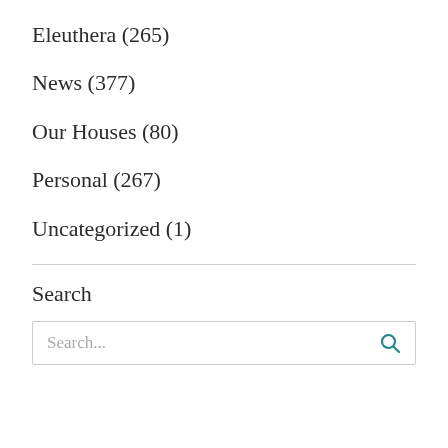Eleuthera (265)
News (377)
Our Houses (80)
Personal (267)
Uncategorized (1)
Search